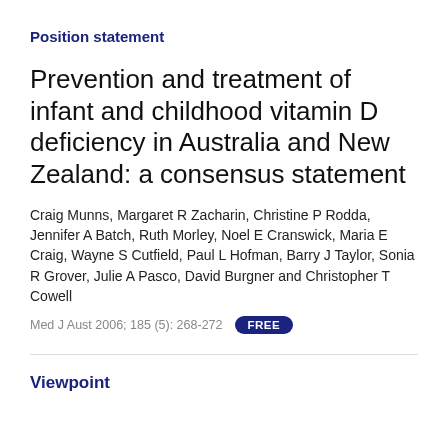Position statement
Prevention and treatment of infant and childhood vitamin D deficiency in Australia and New Zealand: a consensus statement
Craig Munns, Margaret R Zacharin, Christine P Rodda, Jennifer A Batch, Ruth Morley, Noel E Cranswick, Maria E Craig, Wayne S Cutfield, Paul L Hofman, Barry J Taylor, Sonia R Grover, Julie A Pasco, David Burgner and Christopher T Cowell
Med J Aust 2006; 185 (5): 268-272  FREE
Viewpoint